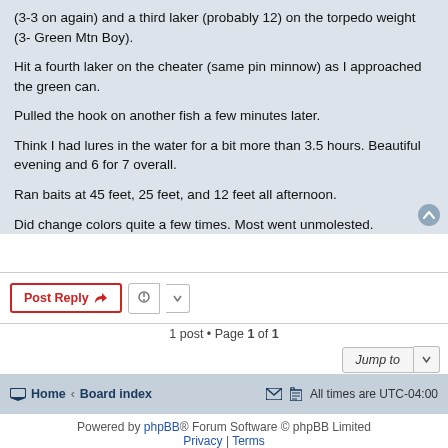(3-3 on again) and a third laker (probably 12) on the torpedo weight (3- Green Mtn Boy).
Hit a fourth laker on the cheater (same pin minnow) as I approached the green can.
Pulled the hook on another fish a few minutes later.
Think I had lures in the water for a bit more than 3.5 hours. Beautiful evening and 6 for 7 overall.
Ran baits at 45 feet, 25 feet, and 12 feet all afternoon.
Did change colors quite a few times. Most went unmolested.
1 post • Page 1 of 1
Home · Board index   All times are UTC-04:00
Powered by phpBB® Forum Software © phpBB Limited  Privacy | Terms